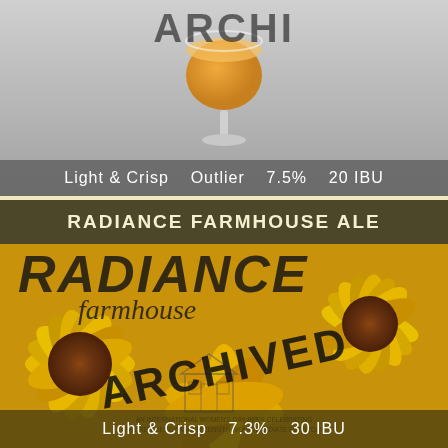[Figure (photo): Top beer card showing a Belgian-style stemmed glass of amber beer with 'ARCHI' text overlay on a grey gradient background, with a bottom bar showing 'Light & Crisp   Outlier   7.5%   20 IBU']
Light & Crisp   Outlier   7.5%   20 IBU
[Figure (photo): Bottom beer card for 'Radiance Farmhouse Ale' showing sunflower background with large handwritten-style 'RADIANCE farmhouse' text and 'ARCHIVED' diagonal stamp overlay, with bottom bar showing 'Light & Crisp   7.3%   30 IBU']
RADIANCE FARMHOUSE ALE
Light & Crisp   7.3%   30 IBU